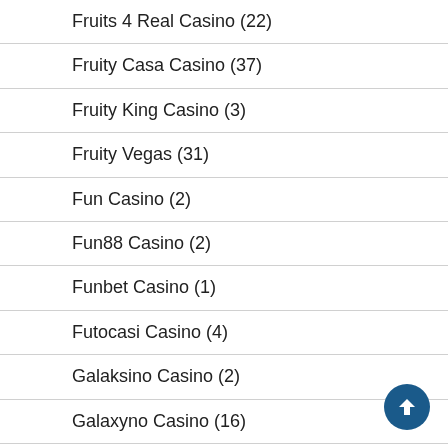Fruits 4 Real Casino (22)
Fruity Casa Casino (37)
Fruity King Casino (3)
Fruity Vegas (31)
Fun Casino (2)
Fun88 Casino (2)
Funbet Casino (1)
Futocasi Casino (4)
Galaksino Casino (2)
Galaxyno Casino (16)
Gallo Casino (1)
Gamdom Casino (1)
Gate 777 Casino (91)
Generation VIP Casino (111)